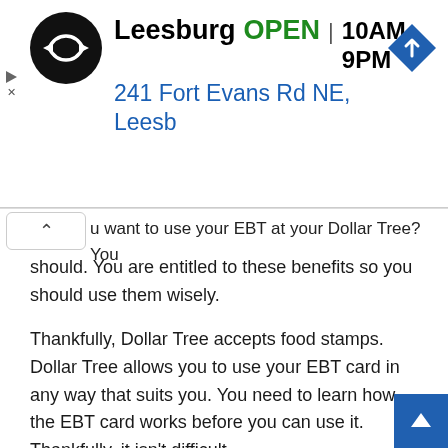[Figure (screenshot): Google Maps / local business ad banner showing: circular black logo with double-arrow symbol, business name 'Leesburg', status 'OPEN', hours '10AM–9PM', address '241 Fort Evans Rd NE, Leesb', and a blue diamond navigation icon. Ad controls (play and close) visible on left.]
u want to use your EBT at your Dollar Tree? You should. You are entitled to these benefits so you should use them wisely.
Thankfully, Dollar Tree accepts food stamps. Dollar Tree allows you to use your EBT card in any way that suits you. You need to learn how the EBT card works before you can use it. Thankfully, it isn't difficult.
Most people have used a credit or debit card. You can purchase your goods with your EBT card if you already have one. Once the cashier has finished scanning you